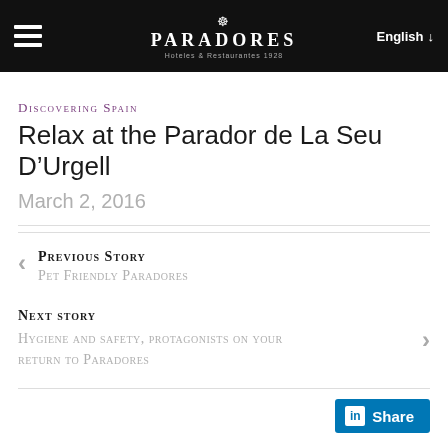PARADORES — Hoteles & Restaurantes 1928 | English
Discovering Spain
Relax at the Parador de La Seu D'Urgell
March 2, 2016
Previous Story
Pet Friendly Paradores
Next story
Hygiene and safety, protagonists on your return to Paradores